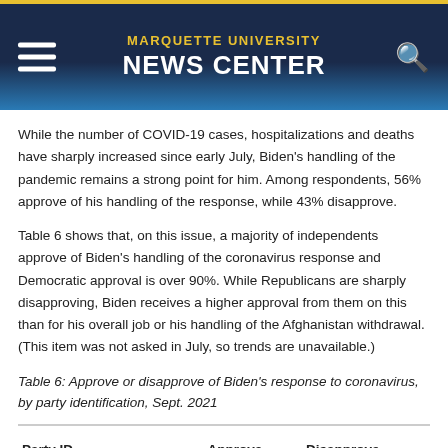MARQUETTE UNIVERSITY NEWS CENTER
While the number of COVID-19 cases, hospitalizations and deaths have sharply increased since early July, Biden's handling of the pandemic remains a strong point for him. Among respondents, 56% approve of his handling of the response, while 43% disapprove.
Table 6 shows that, on this issue, a majority of independents approve of Biden's handling of the coronavirus response and Democratic approval is over 90%. While Republicans are sharply disapproving, Biden receives a higher approval from them on this than for his overall job or his handling of the Afghanistan withdrawal. (This item was not asked in July, so trends are unavailable.)
Table 6: Approve or disapprove of Biden's response to coronavirus, by party identification, Sept. 2021
| Party ID | Approve | Disapprove |
| --- | --- | --- |